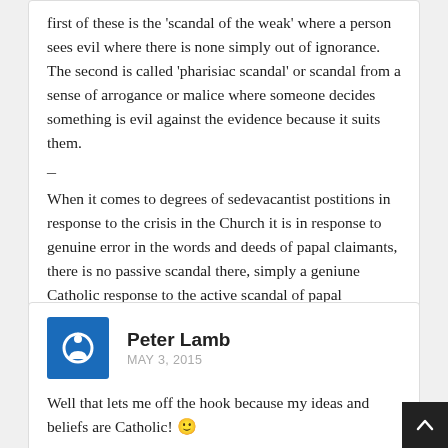first of these is the 'scandal of the weak' where a person sees evil where there is none simply out of ignorance. The second is called 'pharisiac scandal' or scandal from a sense of arrogance or malice where someone decides something is evil against the evidence because it suits them.
–
When it comes to degrees of sedevacantist postitions in response to the crisis in the Church it is in response to genuine error in the words and deeds of papal claimants, there is no passive scandal there, simply a geniune Catholic response to the active scandal of papal claimants.
Peter Lamb
MAY 3, 2015
Well that lets me off the hook because my ideas and beliefs are Catholic! 🙂